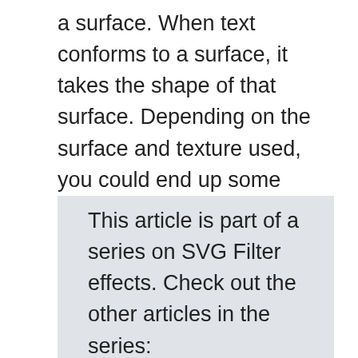a surface. When text conforms to a surface, it takes the shape of that surface. Depending on the surface and texture used, you could end up some really eye-catching results. This is what this article will touch on. And the best part? All these effects are applied to real, searchable, selectable and accessible text.
This article is part of a series on SVG Filter effects. Check out the other articles in the series: